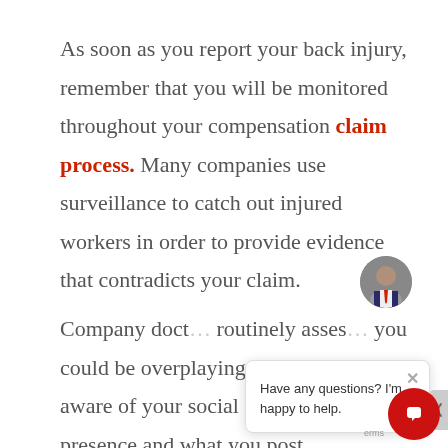As soon as you report your back injury, remember that you will be monitored throughout your compensation claim process. Many companies use surveillance to catch out injured workers in order to provide evidence that contradicts your claim.
Company doctors routinely assess you for any sign that you could be overplaying an injury. Be aware of your social media and online presence and what you post
[Figure (screenshot): Chat popup with avatar photo of a man in suit, close button, and message 'Have any questions? I'm happy to help.' A red circular chat button with speech bubble icon appears at bottom right.]